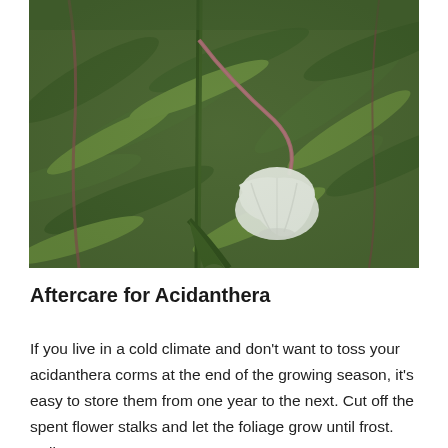[Figure (photo): Close-up photograph of a white Acidanthera flower with a pink-tinged stem, drooping bell-shaped bloom, against a blurred green leafy background.]
Aftercare for Acidanthera
If you live in a cold climate and don't want to toss your acidanthera corms at the end of the growing season, it's easy to store them from one year to the next. Cut off the spent flower stalks and let the foliage grow until frost. Pull up